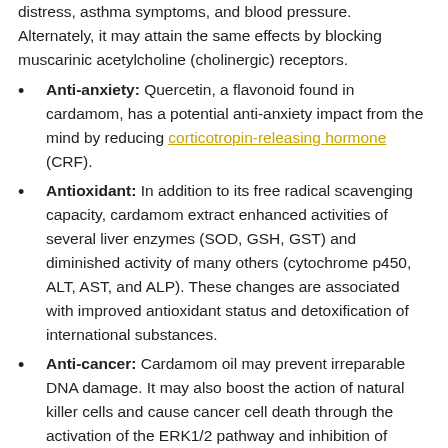distress, asthma symptoms, and blood pressure. Alternately, it may attain the same effects by blocking muscarinic acetylcholine (cholinergic) receptors.
Anti-anxiety: Quercetin, a flavonoid found in cardamom, has a potential anti-anxiety impact from the mind by reducing corticotropin-releasing hormone (CRF).
Antioxidant: In addition to its free radical scavenging capacity, cardamom extract enhanced activities of several liver enzymes (SOD, GSH, GST) and diminished activity of many others (cytochrome p450, ALT, AST, and ALP). These changes are associated with improved antioxidant status and detoxification of international substances.
Anti-cancer: Cardamom oil may prevent irreparable DNA damage. It may also boost the action of natural killer cells and cause cancer cell death through the activation of the ERK1/2 pathway and inhibition of